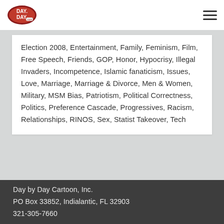Day by Day Cartoon logo and navigation
Election 2008, Entertainment, Family, Feminism, Film, Free Speech, Friends, GOP, Honor, Hypocrisy, Illegal Invaders, Incompetence, Islamic fanaticism, Issues, Love, Marriage, Marriage & Divorce, Men & Women, Military, MSM Bias, Patriotism, Political Correctness, Politics, Preference Cascade, Progressives, Racism, Relationships, RINOS, Sex, Statist Takeover, Tech
Day by Day Cartoon, Inc.
PO Box 33852, Indialantic, FL 32903
321-305-7660